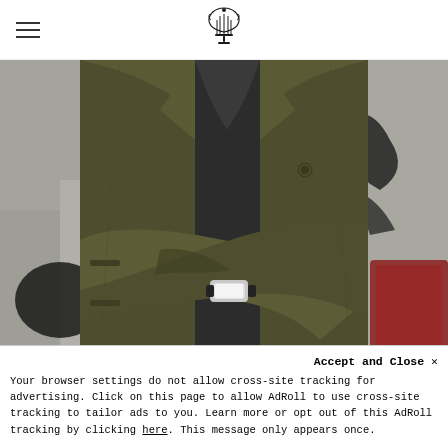[Hamburger menu icon] [Logo: decorative lyre/crest emblem]
[Figure (photo): A person wearing an olive/army green waxed cotton jacket with arms crossed, standing against a graffiti-covered wall. A watch is visible on the wrist. The head is cropped out of the frame.]
Accept and Close ×
Your browser settings do not allow cross-site tracking for advertising. Click on this page to allow AdRoll to use cross-site tracking to tailor ads to you. Learn more or opt out of this AdRoll tracking by clicking here. This message only appears once.